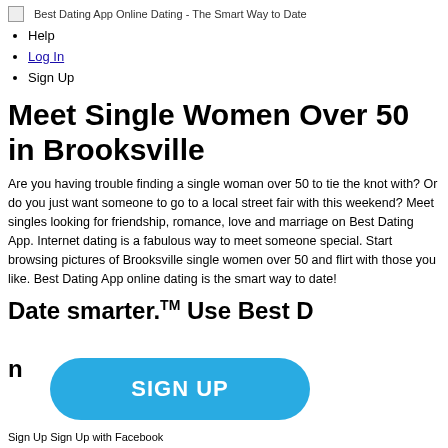Best Dating App Online Dating - The Smart Way to Date
Help
Log In
Sign Up
Meet Single Women Over 50 in Brooksville
Are you having trouble finding a single woman over 50 to tie the knot with? Or do you just want someone to go to a local street fair with this weekend? Meet singles looking for friendship, romance, love and marriage on Best Dating App. Internet dating is a fabulous way to meet someone special. Start browsing pictures of Brooksville single women over 50 and flirt with those you like. Best Dating App online dating is the smart way to date!
Date smarter.™ Use Best Dating App to m
[Figure (other): SIGN UP button overlay in teal/blue rounded rectangle]
Sign Up Sign Up with Facebook